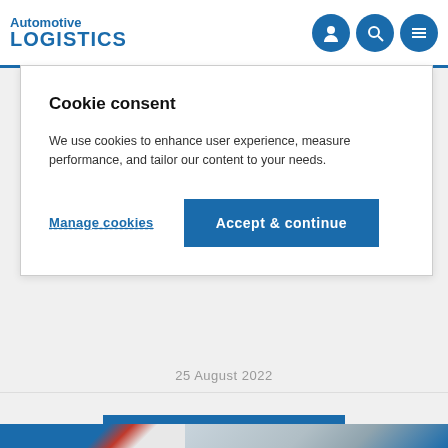Automotive LOGISTICS
Cookie consent
We use cookies to enhance user experience, measure performance, and tailor our content to your needs.
Manage cookies | Accept & continue
25 August 2022
LOAD MORE ARTICLES
[Figure (logo): Automotive Logistics logo image thumbnail at bottom left]
[Figure (photo): Partial image thumbnail at bottom right]